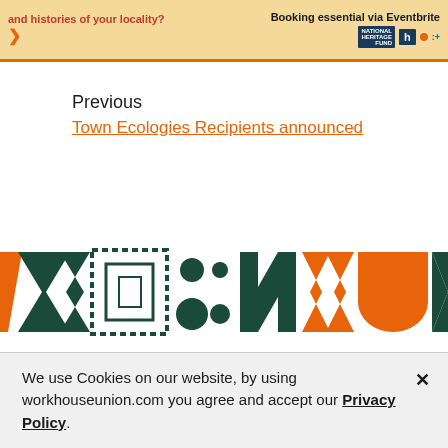[Figure (infographic): Banner with orange top border, cream/yellow background. Left side in red bold text: 'and histories of your locality?' with a decorative arrow/chevron. Right side: 'Booking essential via Eventbrite' with small logos including national lottery, h logo, and other sponsor logos.]
Previous
Town Ecologies Recipients announced
[Figure (logo): Decorative logo band featuring abstract geometric shapes in dark teal and orange including chevrons, dotted square frame, circles, zigzag N shape, more chevrons, orange semicircle/bowl shape, and triangle — appears to be the Workhouse Union logo/wordmark.]
Facebook
Twitter
We use Cookies on our website, by using workhouseunion.com you agree and accept our Privacy Policy.